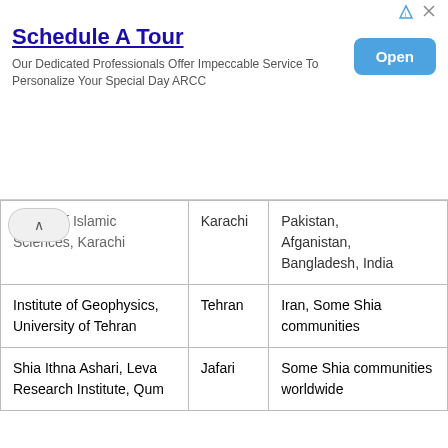[Figure (other): Advertisement banner: Schedule A Tour - Our Dedicated Professionals Offer Impeccable Service To Personalize Your Special Day ARCC, with an Open button]
| Institution | Location | Serves |
| --- | --- | --- |
| versity of Islamic Sciences, Karachi | Karachi | Pakistan, Afganistan, Bangladesh, India |
| Institute of Geophysics, University of Tehran | Tehran | Iran, Some Shia communities |
| Shia Ithna Ashari, Leva Research Institute, Qum | Jafari | Some Shia communities worldwide |